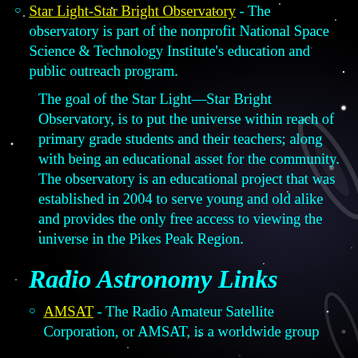Star Light-Star Bright Observatory - The observatory is part of the nonprofit National Space Science & Technology Institute's education and public outreach program.
The goal of the Star Light—Star Bright Observatory, is to put the universe within reach of primary grade students and their teachers; along with being an educational asset for the community. The observatory is an educational project that was established in 2004 to serve young and old alike and provides the only free access to viewing the universe in the Pikes Peak Region.
Radio Astronomy Links
AMSAT - The Radio Amateur Satellite Corporation, or AMSAT, is a worldwide group